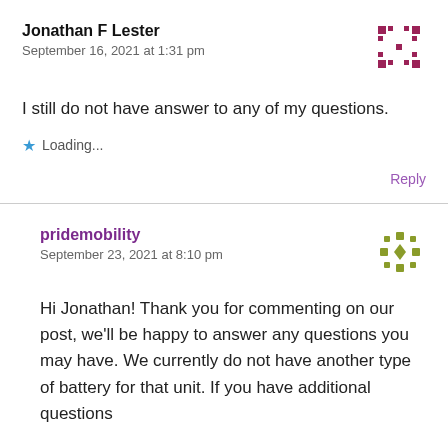Jonathan F Lester
September 16, 2021 at 1:31 pm
I still do not have answer to any of my questions.
Loading...
Reply
pridemobility
September 23, 2021 at 8:10 pm
Hi Jonathan! Thank you for commenting on our post, we'll be happy to answer any questions you may have. We currently do not have another type of battery for that unit. If you have additional questions